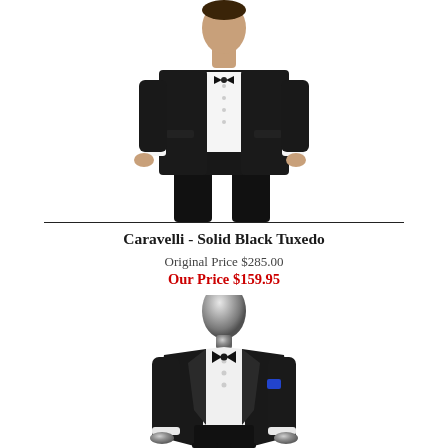[Figure (photo): Man wearing a solid black tuxedo with white dress shirt, photographed from waist up against white background]
Caravelli - Solid Black Tuxedo
Original Price $285.00
Our Price $159.95
[Figure (photo): Chrome headless mannequin wearing a solid black tuxedo jacket with satin lapels, white dress shirt and bow tie, blue pocket square visible]